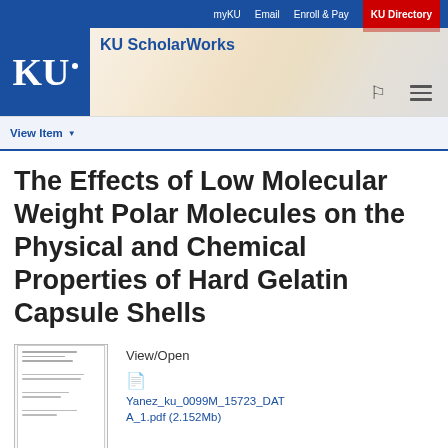myKU  Email  Enroll & Pay  KU Directory
[Figure (logo): KU ScholarWorks header with University of Kansas logo (KU) on blue background and decorative winter background image with user and menu icons]
View Item ▼
The Effects of Low Molecular Weight Polar Molecules on the Physical and Chemical Properties of Hard Gelatin Capsule Shells
[Figure (other): Thumbnail preview of PDF document]
View/Open
Yanez_ku_0099M_15723_DATA_1.pdf (2.152Mb)